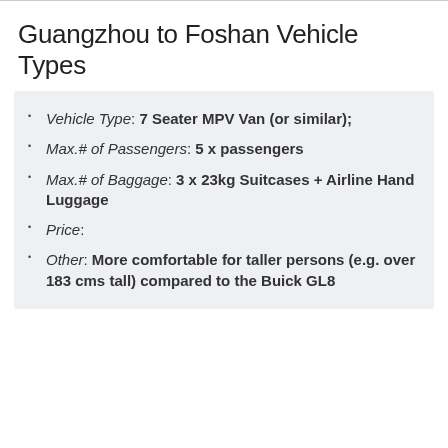Guangzhou to Foshan Vehicle Types
Vehicle Type: 7 Seater MPV Van (or similar);
Max.# of Passengers: 5 x passengers
Max.# of Baggage: 3 x 23kg Suitcases + Airline Hand Luggage
Price:
Other: More comfortable for taller persons (e.g. over 183 cms tall) compared to the Buick GL8